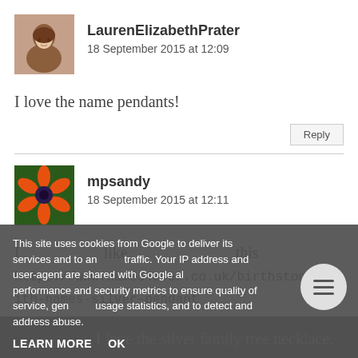LaurenElizabethPrater
18 September 2015 at 12:09
I love the name pendants!
mpsandy
18 September 2015 at 12:11
I like this https://www.names4ever.co.uk/birthstones-with-names-silver-pendant
This site uses cookies from Google to deliver its services and to analyse traffic. Your IP address and user-agent are shared with Google along with performance and security metrics to ensure quality of service, generate usage statistics, and to detect and address abuse.
LEARN MORE  OK
I love the silver family tree necklace.